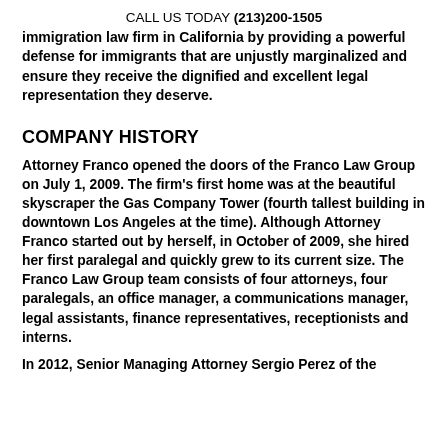CALL US TODAY (213)200-1505
immigration law firm in California by providing a powerful defense for immigrants that are unjustly marginalized and ensure they receive the dignified and excellent legal representation they deserve.
COMPANY HISTORY
Attorney Franco opened the doors of the Franco Law Group on July 1, 2009. The firm's first home was at the beautiful skyscraper the Gas Company Tower (fourth tallest building in downtown Los Angeles at the time). Although Attorney Franco started out by herself, in October of 2009, she hired her first paralegal and quickly grew to its current size. The Franco Law Group team consists of four attorneys, four paralegals, an office manager, a communications manager, legal assistants, finance representatives, receptionists and interns.
In 2012, Senior Managing Attorney Sergio Perez of the